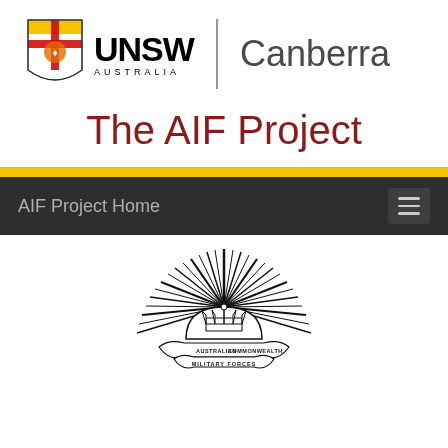[Figure (logo): UNSW Australia shield logo combined with UNSW Australia wordmark and Canberra text, separated by a vertical line]
The AIF Project
AIF Project Home
[Figure (logo): Australian Commonwealth Military Forces rising sun badge with crown and scroll reading AUSTRALIAN COMMONWEALTH MILITARY FORCES]
William Gilroy WATSON